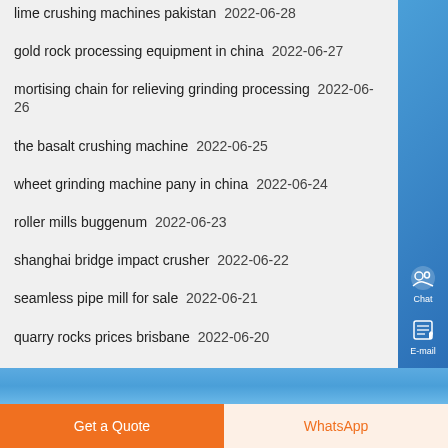lime crushing machines pakistan  2022-06-28
gold rock processing equipment in china  2022-06-27
mortising chain for relieving grinding processing  2022-06-26
the basalt crushing machine  2022-06-25
wheet grinding machine pany in china  2022-06-24
roller mills buggenum  2022-06-23
shanghai bridge impact crusher  2022-06-22
seamless pipe mill for sale  2022-06-21
quarry rocks prices brisbane  2022-06-20